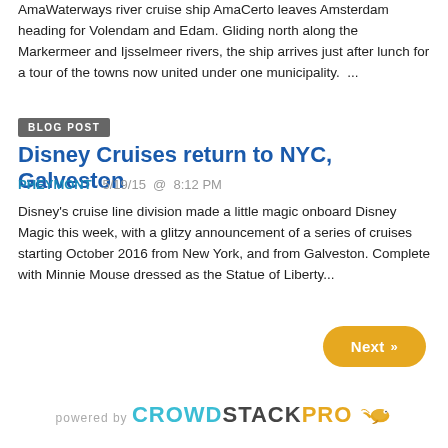AmaWaterways river cruise ship AmaCerto leaves Amsterdam heading for Volendam and Edam. Gliding north along the Markermeer and Ijsselmeer rivers, the ship arrives just after lunch for a tour of the towns now united under one municipality.  ...
BLOG POST
Disney Cruises return to NYC, Galveston
PHEYMONT · 5/19/15  @  8:12 PM
Disney's cruise line division made a little magic onboard Disney Magic this week, with a glitzy announcement of a series of cruises starting October 2016 from New York, and from Galveston. Complete with Minnie Mouse dressed as the Statue of Liberty...
Next »
powered by CROWDSTACKPRO